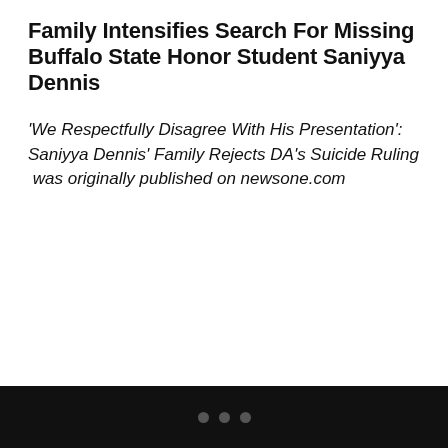Family Intensifies Search For Missing Buffalo State Honor Student Saniyya Dennis
'We Respectfully Disagree With His Presentation': Saniyya Dennis' Family Rejects DA's Suicide Ruling  was originally published on newsone.com